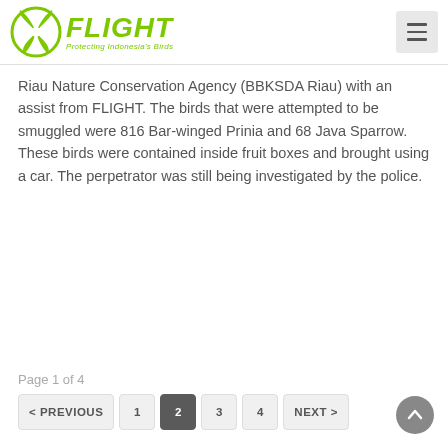[Figure (logo): FLIGHT - Protecting Indonesia's Birds logo with green bird/leaf icon and green italic text, plus hamburger menu button on right]
Riau Nature Conservation Agency (BBKSDA Riau) with an assist from FLIGHT. The birds that were attempted to be smuggled were 816 Bar-winged Prinia and 68 Java Sparrow. These birds were contained inside fruit boxes and brought using a car. The perpetrator was still being investigated by the police.
Page 1 of 4
< PREVIOUS  1  2  3  4  NEXT >